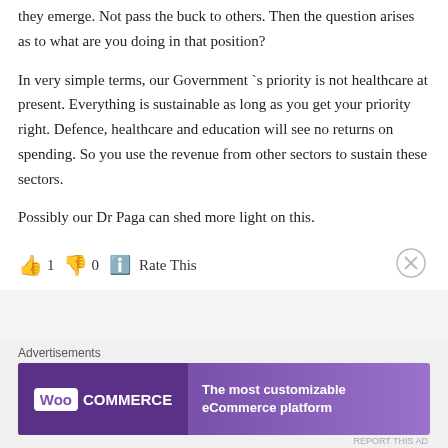they emerge. Not pass the buck to others. Then the question arises as to what are you doing in that position?
In very simple terms, our Government `s priority is not healthcare at present. Everything is sustainable as long as you get your priority right. Defence, healthcare and education will see no returns on spending. So you use the revenue from other sectors to sustain these sectors.
Possibly our Dr Paga can shed more light on this.
👍 1 👎 0 ℹ️ Rate This
Advertisements
[Figure (infographic): WooCommerce advertisement banner: purple background, WooCommerce logo on left, text 'The most customizable eCommerce platform' on right]